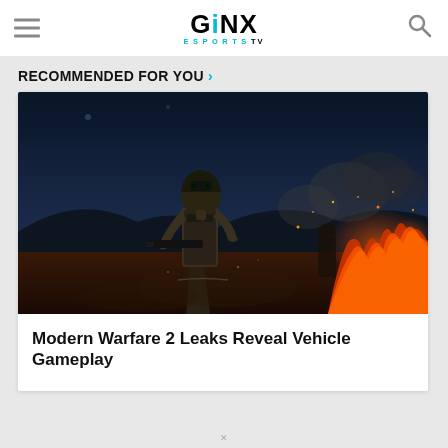GINX ESPORTS TV
RECOMMENDED FOR YOU
[Figure (screenshot): Call of Duty Modern Warfare 2 game screenshot showing a soldier in tactical gear with night vision goggles, standing in a dark combat zone with fire and smoke in the background]
Modern Warfare 2 Leaks Reveal Vehicle Gameplay